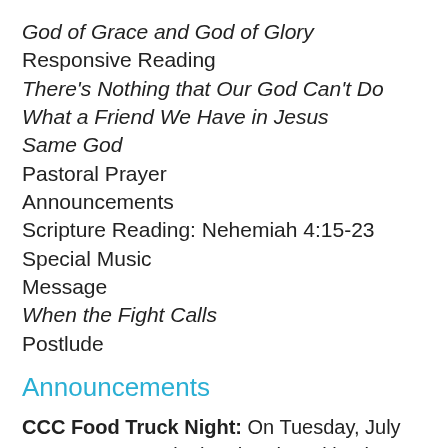God of Grace and God of Glory
Responsive Reading
There's Nothing that Our God Can't Do
What a Friend We Have in Jesus
Same God
Pastoral Prayer
Announcements
Scripture Reading: Nehemiah 4:15-23
Special Music
Message
When the Fight Calls
Postlude
Announcements
CCC Food Truck Night: On Tuesday, July 12, 5:30-8:30pm in the church parking lot, we will have local